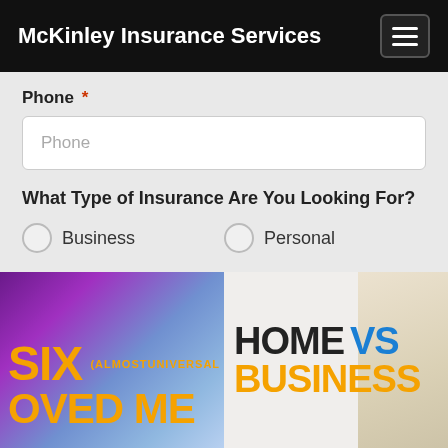McKinley Insurance Services
Phone *
Phone
What Type of Insurance Are You Looking For?
Business
Personal
Submit
[Figure (photo): Image with orange text reading 'SIX (ALMOSTUNIVERSAL' and 'OVED ME' on purple/blue bokeh background]
[Figure (photo): Image with text 'HOME VS BUSINESS' — HOME in black, VS in blue, BUSINESS in orange — with desk/laptop background]